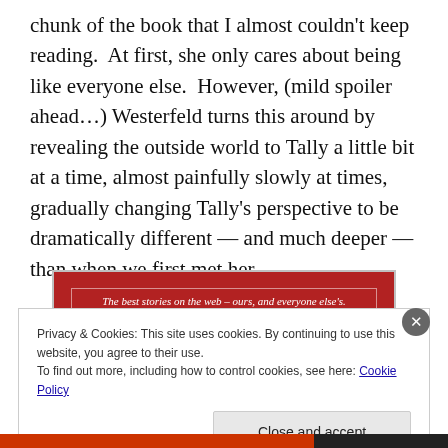chunk of the book that I almost couldn't keep reading.  At first, she only cares about being like everyone else.  However, (mild spoiler ahead…) Westerfeld turns this around by revealing the outside world to Tally a little bit at a time, almost painfully slowly at times, gradually changing Tally's perspective to be dramatically different — and much deeper — than when we first met her.
[Figure (other): Red advertisement banner with white italic text: 'The best stories on the web – ours, and everyone else's.' with a thin white border inside.]
REPORT THIS AD
Privacy & Cookies: This site uses cookies. By continuing to use this website, you agree to their use.
To find out more, including how to control cookies, see here: Cookie Policy
Close and accept